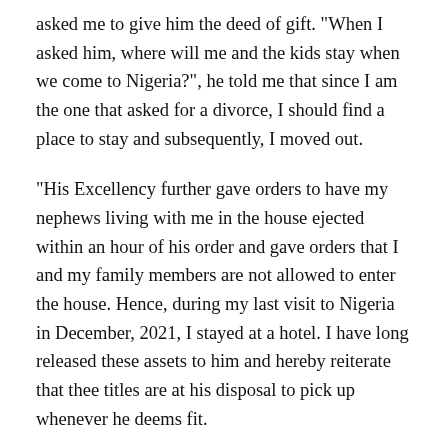asked me to give him the deed of gift. "When I asked him, where will me and the kids stay when we come to Nigeria?", he told me that since I am the one that asked for a divorce, I should find a place to stay and subsequently, I moved out.
"His Excellency further gave orders to have my nephews living with me in the house ejected within an hour of his order and gave orders that I and my family members are not allowed to enter the house. Hence, during my last visit to Nigeria in December, 2021, I stayed at a hotel. I have long released these assets to him and hereby reiterate that thee titles are at his disposal to pick up whenever he deems fit.
"There has been a lot of speculation on the Dubai home. For a while now, I had purposely stayed away the Dubai until I took custody of that property September 2021 after